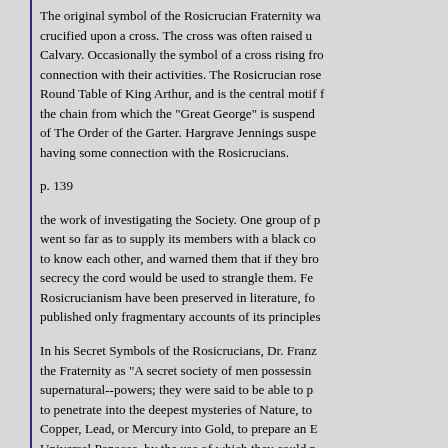The original symbol of the Rosicrucian Fraternity wa... crucified upon a cross. The cross was often raised u... Calvary. Occasionally the symbol of a cross rising fro... connection with their activities. The Rosicrucian rose... Round Table of King Arthur, and is the central motif f... the chain from which the "Great George" is suspend... of The Order of the Garter. Hargrave Jennings suspe... having some connection with the Rosicrucians.
p. 139
the work of investigating the Society. One group of p... went so far as to supply its members with a black co... to know each other, and warned them that if they bro... secrecy the cord would be used to strangle them. Fe... Rosicrucianism have been preserved in literature, fo... published only fragmentary accounts of its principles...
In his Secret Symbols of the Rosicrucians, Dr. Franz... the Fraternity as "A secret society of men possessin... supernatural--powers; they were said to be able to p... to penetrate into the deepest mysteries of Nature, to... Copper, Lead, or Mercury into Gold, to prepare an E... Universal Panacea, by the use of which they could p...